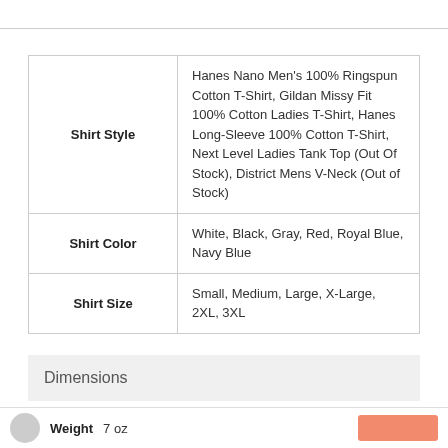|  |  |
| --- | --- |
| Shirt Style | Hanes Nano Men's 100% Ringspun Cotton T-Shirt, Gildan Missy Fit 100% Cotton Ladies T-Shirt, Hanes Long-Sleeve 100% Cotton T-Shirt, Next Level Ladies Tank Top (Out Of Stock), District Mens V-Neck (Out of Stock) |
| Shirt Color | White, Black, Gray, Red, Royal Blue, Navy Blue |
| Shirt Size | Small, Medium, Large, X-Large, 2XL, 3XL |
Dimensions
Weight 7 oz